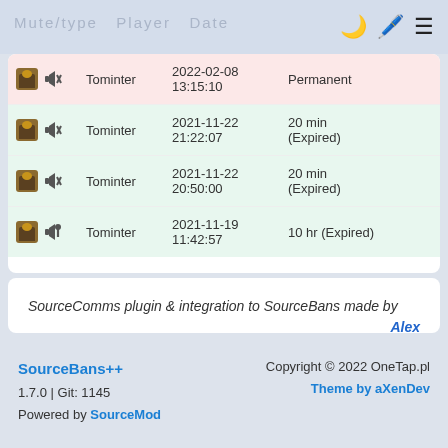SourceBans++ admin panel header with navigation icons
| Icon | Mod | Date | Duration |
| --- | --- | --- | --- |
| [icon] | Tominter | 2022-02-08 13:15:10 | Permanent |
| [icon] | Tominter | 2021-11-22 21:22:07 | 20 min (Expired) |
| [icon] | Tominter | 2021-11-22 20:50:00 | 20 min (Expired) |
| [icon] | Tominter | 2021-11-19 11:42:57 | 10 hr (Expired) |
SourceComms plugin & integration to SourceBans made by Alex
SourceBans++ 1.7.0 | Git: 1145 Powered by SourceMod — Copyright © 2022 OneTap.pl Theme by aXenDev